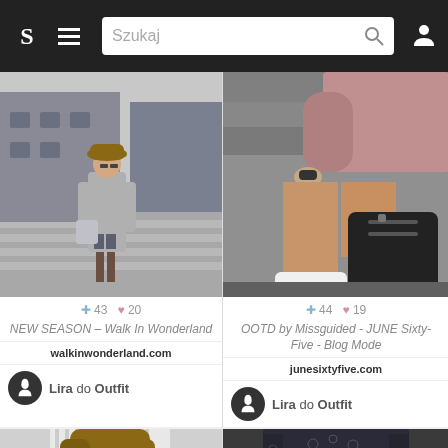S  ≡  Szukaj  🔍  👤
[Figure (photo): Fashion photo: woman in long grey coat, brown hat, jeans, carrying handbag, walking on a street crossing]
+ 43  ♥ 20
NEW SEASON – Walk In Wonderland
walkinwonderland.com
Lira do Outfit
[Figure (photo): Fashion photo: person sitting on stone steps wearing pink/mauve jacket, black backpack beside white sneakers, showing legs]
+ 44  ♥ 19
OOTD by Missguided - JUNE Sixty-Five - Blog Mode
junesixtyfive.com
Lira do Outfit
[Figure (photo): Partial fashion photo: white/grey striped top with long hair]
[Figure (photo): Partial fashion photo: dark top with lace detail]